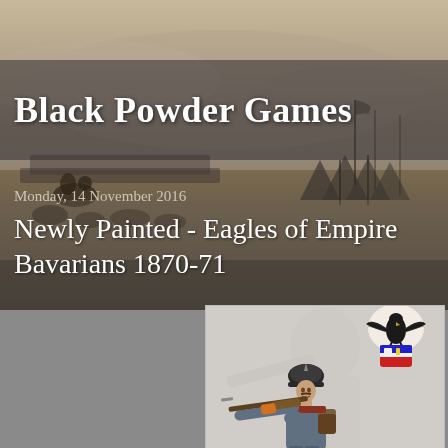[Figure (illustration): Background battle scene painting showing soldiers and war camp with tents, figures on horseback, muted brown and gray tones]
Black Powder Games
Monday, 14 November 2016
Newly Painted - Eagles of Empire Bavarians 1870-71
[Figure (photo): Painted miniature figure of a Bavarian soldier from 1870-71 aiming a rifle, wearing blue-gray uniform with orange cuff detail and dark helmet, with Eagles of Empire logo in top right corner]